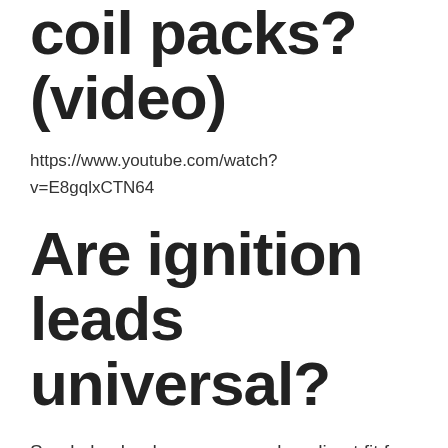coil packs? (video)
https://www.youtube.com/watch?v=E8gqlxCTN64
Are ignition leads universal?
Sparkplug leads are commonly a direct fit for a specific engine application. This makes installation easy, but you can also get